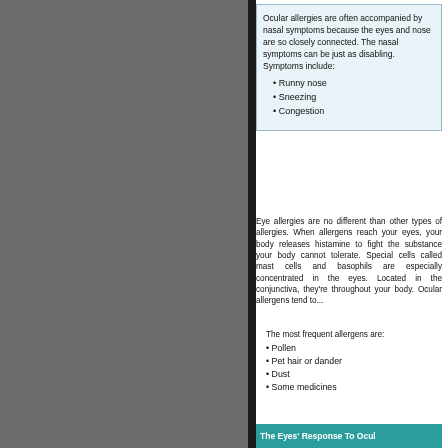Ocular allergies are often accompanied by nasal symptoms because the eyes and nose are so closely connected. The nasal symptoms can be just as disabling. Symptoms include:
Runny nose
Sneezing
Congestion
Eye allergies are no different than other types of allergies. When allergens reach your eyes, your body releases histamine to fight the substance your body cannot tolerate. Special cells called mast cells and basophils are especially concentrated in the eyes. Located in the conjunctiva, they're throughout your body. Ocular allergens tend to...
The most frequent allergens are:
Pollen
Pet hair or dander
Dust
Some medicines
The Eyes' Response To Ocul...